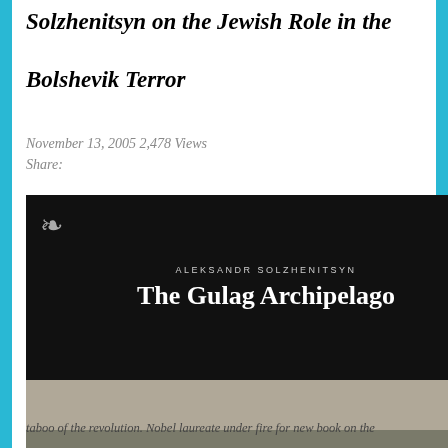Solzhenitsyn on the Jewish Role in the Bolshevik Terror
November 13, 2005 2,478 Views
Share:
[Figure (photo): Book cover of 'The Gulag Archipelago' by Aleksandr Solzhenitsyn, dark background with white text, and a black-and-white historical photograph of gulag laborers working in a field/construction site.]
Solzhenitsyn breaks last
taboo of the revolution. Nobel laureate under fire for new book on the